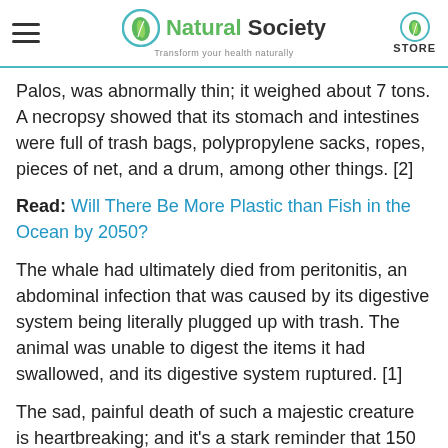Natural Society — Transform your health naturally | STORE
Palos, was abnormally thin; it weighed about 7 tons. A necropsy showed that its stomach and intestines were full of trash bags, polypropylene sacks, ropes, pieces of net, and a drum, among other things. [2]
Read: Will There Be More Plastic than Fish in the Ocean by 2050?
The whale had ultimately died from peritonitis, an abdominal infection that was caused by its digestive system being literally plugged up with trash. The animal was unable to digest the items it had swallowed, and its digestive system ruptured. [1]
The sad, painful death of such a majestic creature is heartbreaking; and it's a stark reminder that 150 tons of plastic are floating around in the ocean, and 8